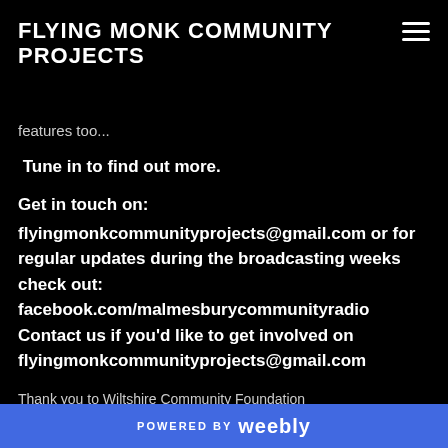FLYING MONK COMMUNITY PROJECTS
features too...
Tune in to find out more.
Get in touch on:
flyingmonkcommunityprojects@gmail.com or for regular updates during the broadcasting weeks check out: facebook.com/malmesburycommunityradio Contact us if you'd like to get involved on flyingmonkcommunityprojects@gmail.com
Thank you to Wiltshire Community Foundation
POWERED BY weebly